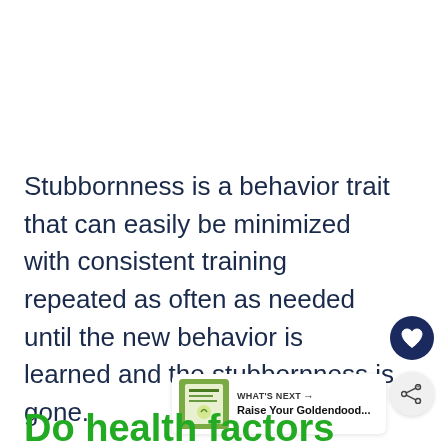Stubbornness is a behavior trait that can easily be minimized with consistent training repeated as often as needed until the new behavior is learned and the stubbornness is gone.
[Figure (other): Heart (like) button icon - dark navy circle with white heart]
[Figure (other): Share button icon - light grey circle with share symbol]
[Figure (other): What's Next panel with book thumbnail and text: WHAT'S NEXT → Raise Your Goldendood...]
Do health factors create stubbornness in Goldendoodles?